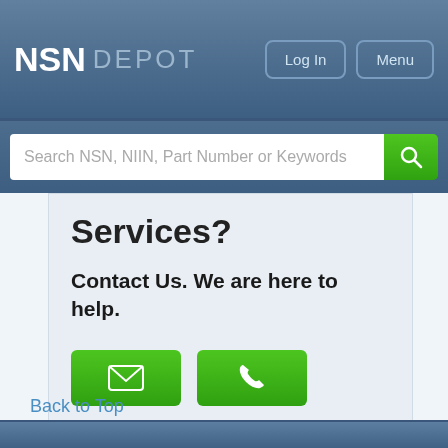NSN DEPOT
Search NSN, NIIN, Part Number or Keywords
Services?
Contact Us. We are here to help.
[Figure (infographic): Two green buttons: email icon and phone icon]
Back to Top